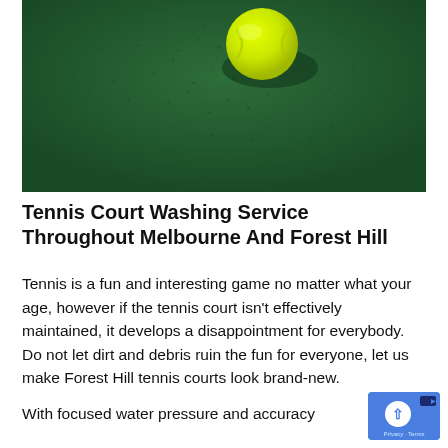[Figure (photo): Close-up photo of a green tennis court surface with a bright yellow-green tennis ball resting on it, casting a shadow.]
Tennis Court Washing Service Throughout Melbourne And Forest Hill
Tennis is a fun and interesting game no matter what your age, however if the tennis court isn't effectively maintained, it develops a disappointment for everybody. Do not let dirt and debris ruin the fun for everyone, let us make Forest Hill tennis courts look brand-new.
With focused water pressure and accuracy